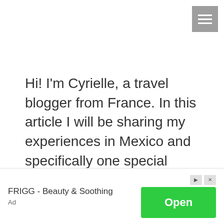[Figure (other): Hamburger menu icon (three horizontal white lines on grey background) in top right corner]
Hi! I'm Cyrielle, a travel blogger from France. In this article I will be sharing my experiences in Mexico and specifically one special destination called Punta Allen. Mexico was never really on my list until the pandemic hit. Then it became necessary to choose a country with low chances of cancellations.
[Figure (other): Advertisement banner: FRIGG - Beauty & Soothing with an Open button in green]